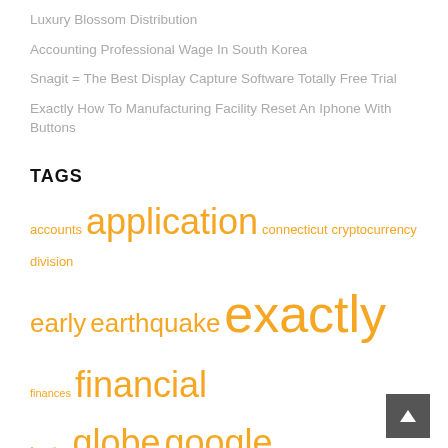Luxury Blossom Distribution
Accounting Professional Wage In South Korea
Snagit = The Best Display Capture Software Totally Free Trial
Exactly How To Manufacturing Facility Reset An Iphone With Buttons
TAGS
accounts application connecticut cryptocurrency division early earthquake exactly finances financial function globe google government group incentive information instagram